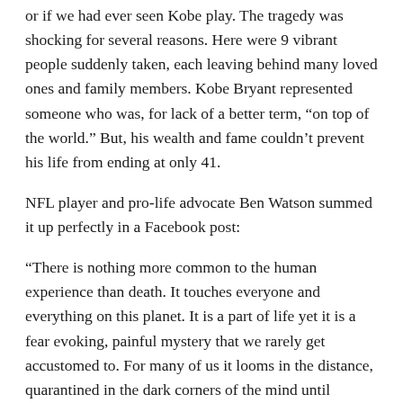or if we had ever seen Kobe play.  The tragedy was shocking for several reasons.  Here were 9 vibrant people suddenly taken, each leaving behind many loved ones and family members.  Kobe Bryant represented someone who was, for lack of a better term, “on top of the world.”  But, his wealth and fame couldn’t prevent his life from ending at only 41.
NFL player and pro-life advocate Ben Watson summed it up perfectly in a Facebook post:
“There is nothing more common to the human experience than death. It touches everyone and everything on this planet. It is a part of life yet it is a fear evoking, painful mystery that we rarely get accustomed to. For many of us it looms in the distance, quarantined in the dark corners of the mind until suddenly our own mortality grabs us unexpectedly and stares us squarely in the face. Over 150,000 people die daily, largely unnoticed, but when icons expire unexpectedly it shakes our souls. If someone in good health, adored by millions across the